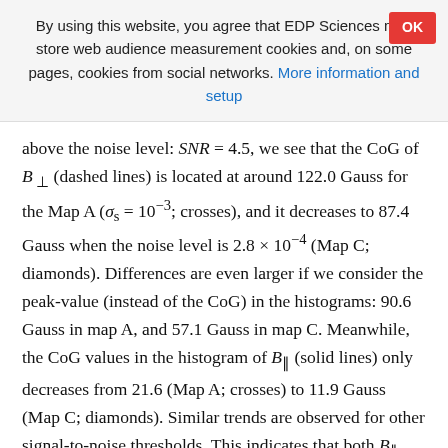By using this website, you agree that EDP Sciences may store web audience measurement cookies and, on some pages, cookies from social networks. More information and setup
above the noise level: SNR = 4.5, we see that the CoG of B⊥ (dashed lines) is located at around 122.0 Gauss for the Map A (σs = 10−3; crosses), and it decreases to 87.4 Gauss when the noise level is 2.8 × 10−4 (Map C; diamonds). Differences are even larger if we consider the peak-value (instead of the CoG) in the histograms: 90.6 Gauss in map A, and 57.1 Gauss in map C. Meanwhile, the CoG values in the histogram of B∥ (solid lines) only decreases from 21.6 (Map A; crosses) to 11.9 Gauss (Map C; diamonds). Similar trends are observed for other signal-to-noise thresholds. This indicates that both B∥ and B⊥ are responsible for the decrease in the